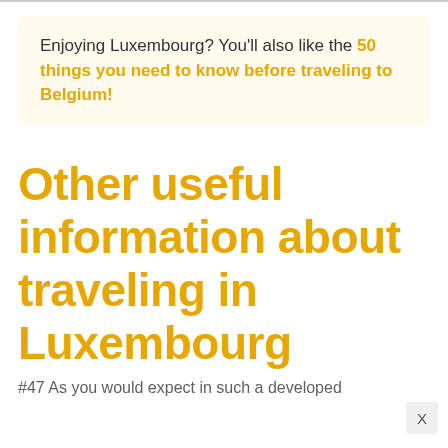Enjoying Luxembourg? You'll also like the 50 things you need to know before traveling to Belgium!
Other useful information about traveling in Luxembourg
#47 As you would expect in such a developed